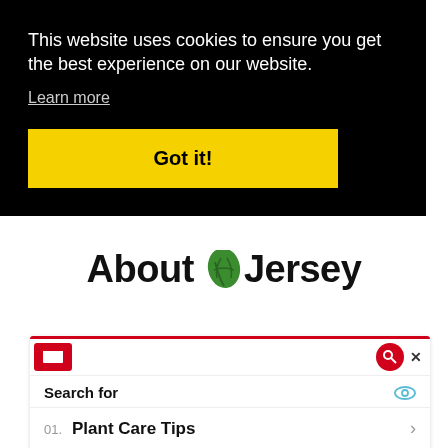This website uses cookies to ensure you get the best experience on our website.
Learn more
Got it!
[Figure (logo): AboutJersey logo with green monstera leaf icon between 'About' and 'Jersey' in bold black text]
Search for
01. Plant Care Tips
02. Top Indoor Plants
Yahoo! Search | Sponsored